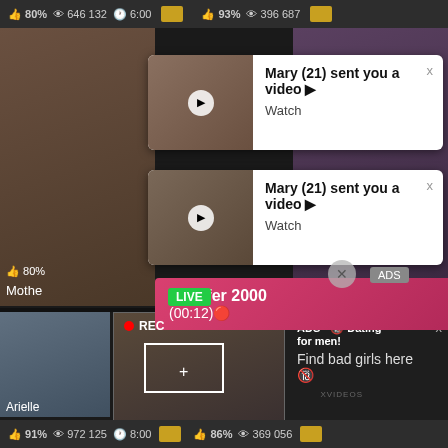[Figure (screenshot): Adult content platform screenshot showing video thumbnails with stats (80%, 646 132 views, 6:00 duration) and notification popups from 'Mary (21) sent you a video' with Watch links, a pink bar showing 'Jeniffer 2000 (00:12)', a LIVE badge, and bottom section with REC video, ad panel saying 'ADS • Dating for men! Find bad girls here', stats showing 91%, 972 125 views, 8:00, 86%, 369 056 views, and Arielle label]